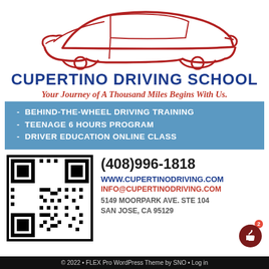[Figure (logo): Red outline illustration of a sports car silhouette]
CUPERTINO DRIVING SCHOOL
Your Journey of A Thousand Miles Begins With Us.
- BEHIND-THE-WHEEL DRIVING TRAINING
- TEENAGE 6 HOURS PROGRAM
- DRIVER EDUCATION ONLINE CLASS
[Figure (other): QR code for Cupertino Driving School]
(408)996-1818
WWW.CUPERTINODRIVING.COM
INFO@CUPERTINODRIVING.COM
5149 MOORPARK AVE. STE 104
SAN JOSE, CA 95129
© 2022 • FLEX Pro WordPress Theme by SNO • Log in